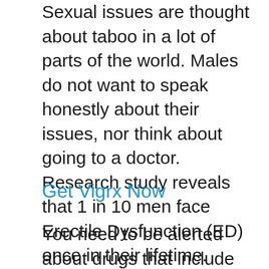Sexual issues are thought about taboo in a lot of parts of the world. Males do not want to speak honestly about their issues, nor think about going to a doctor. Research study reveals that 1 in 10 men face Erectile Dysfunction (ED) once in their lifetime. These problems are extremely common and the marketplace has some great medications that an individual can consumption to fight them.
Get Vigrx Now
You need to be alerted about drugs that include hazardous compounds. These medications may offer you faster outcomes,